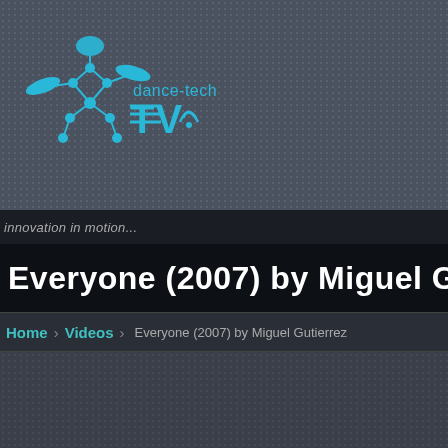[Figure (logo): dance-tech TV logo featuring a blue robotic/dancer figure made of connected nodes and joints, with text 'dance-tech' and 'TV' in cyan/blue on dark gray background]
innovation in motion...
Everyone (2007) by Miguel Gutierrez
Home › Videos › Everyone (2007) by Miguel Gutierrez